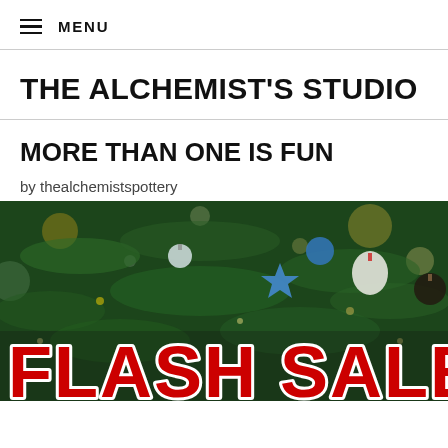MENU
THE ALCHEMIST'S STUDIO
MORE THAN ONE IS FUN
by thealchemistspottery
[Figure (photo): Christmas tree with ornaments and decorations including blue star, white, and red ornaments with bokeh lights in the background. Large red 'FLASH SALE' text overlaid at the bottom.]